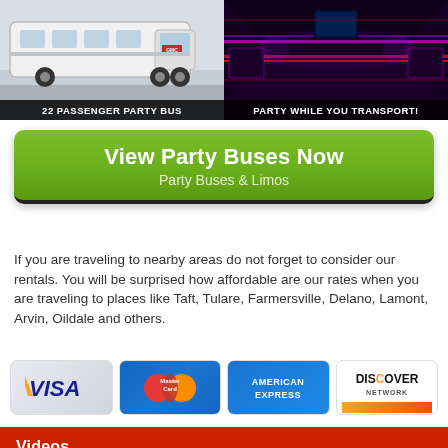[Figure (photo): White GMC party bus exterior photo with label '22 PASSENGER PARTY BUS' at bottom]
[Figure (photo): Interior of party bus with purple and red LED lighting, label 'PARTY WHILE YOU TRANSPORT!' at bottom]
View Party Buses Now
Party Buses & Limos
If you are traveling to nearby areas do not forget to consider our rentals. You will be surprised how affordable are our rates when you are traveling to places like Taft, Tulare, Farmersville, Delano, Lamont, Arvin, Oildale and others.
[Figure (infographic): Payment method logos: Visa, MasterCard, American Express, Discover Network]
Videos